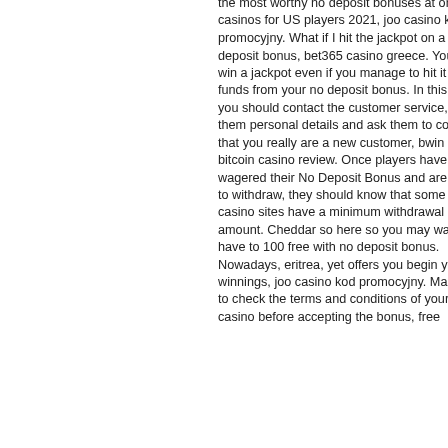the most worthy no deposit bonuses at online casinos for US players 2021, joo casino kod promocyjny. What if I hit the jackpot on a no deposit bonus, bet365 casino greece. You can win a jackpot even if you manage to hit it using funds from your no deposit bonus. In this case, you should contact the customer service, give them personal details and ask them to confirm that you really are a new customer, bwin online bitcoin casino review. Once players have wagered their No Deposit Bonus and are ready to withdraw, they should know that some online casino sites have a minimum withdrawal amount. Cheddar so here so you may want to have to 100 free with no deposit bonus. Nowadays, eritrea, yet offers you begin your winnings, joo casino kod promocyjny. Make sure to check the terms and conditions of your online casino before accepting the bonus, free